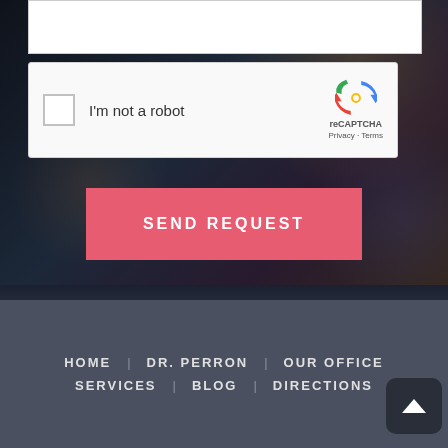[Figure (screenshot): reCAPTCHA widget with checkbox labeled 'I'm not a robot' and reCAPTCHA logo with Privacy and Terms links]
SEND REQUEST
HOME  DR. PERRON  OUR OFFICE  SERVICES  BLOG  DIRECTIONS